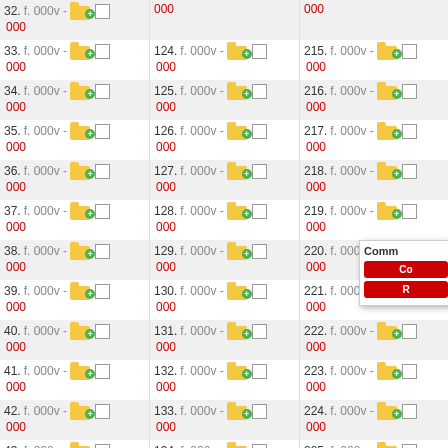[Figure (screenshot): Three-column list of numbered items (32-44, 124-135, 215-226) each showing a folder icon with green plus badge, a checkbox, and values 'f. 000v - 000' in gray/red. A popup dialog with 'Comm' title and two red buttons partially visible at right edge overlapping column 3.]